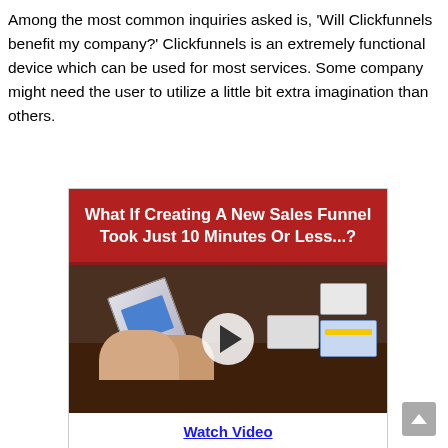Among the most common inquiries asked is, ‘Will Clickfunnels benefit my company?’ Clickfunnels is an extremely functional device which can be used for most services. Some company might need the user to utilize a little bit extra imagination than others.
[Figure (screenshot): Promotional ad box with red header reading 'What If Creating A New Sales Funnel Took Just 10 Minutes Or Less...?' and a video thumbnail showing hands holding a box/device over cards on a table, with a play button overlay, and a 'Watch Video' link below.]